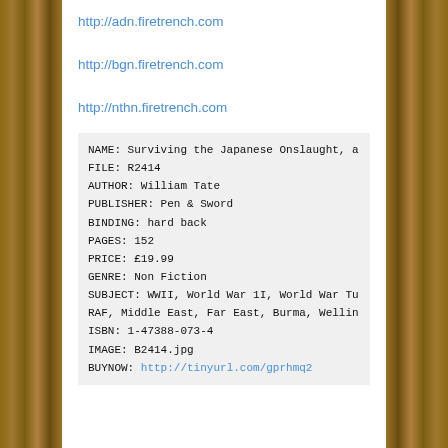http://adn.firetrench.com
http://bgn.firetrench.com
http://nthn.firetrench.com
| NAME: | Surviving the Japanese Onslaught, a... |
| FILE: | R2414 |
| AUTHOR: | William Tate |
| PUBLISHER: | Pen & Sword |
| BINDING: | hard back |
| PAGES: | 152 |
| PRICE: | £19.99 |
| GENRE: | Non Fiction |
| SUBJECT: | WWII, World War 1I, World War Tu... |
|  | RAF, Middle East, Far East, Burma, Wellin... |
| ISBN: | 1-47388-073-4 |
| IMAGE: | B2414.jpg |
| BUYNOW: | http://tinyurl.com/gprhmq2 |